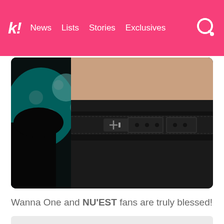k! | News | Lists | Stories | Exclusives
[Figure (photo): Close-up photo of a person's midsection wearing a black double-buckle leather belt against dark clothing, with a teal/green bokeh background on the left side]
Wanna One and NU'EST fans are truly blessed!
[Figure (photo): Partially visible bottom image/thumbnail with light gray background]